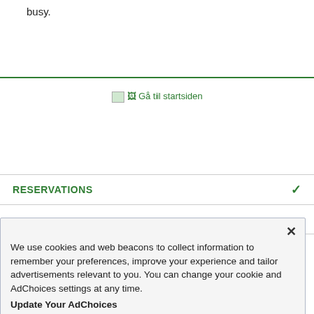busy.
[Figure (other): Broken image placeholder with alt text 'Gå til startsiden' (Go to the homepage), shown as a broken image link in green text]
RESERVATIONS
LOCATIONS
We use cookies and web beacons to collect information to remember your preferences, improve your experience and tailor advertisements relevant to you. You can change your cookie and AdChoices settings at any time.
Update Your AdChoices